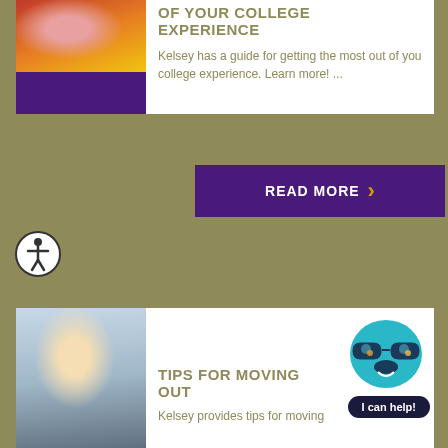[Figure (photo): Photo of students with colorful background, with purple bar below]
OF YOUR COLLEGE EXPERIENCE
Kelsey has a guide for getting the most out of you college experience. Learn more! ...
[Figure (other): READ MORE button with right arrow chevron]
[Figure (other): Accessibility icon - person in circle]
[Figure (photo): Photo of smiling young woman outdoors on campus]
[Figure (illustration): Kelsey mascot with sunglasses and teal color]
TIPS FOR MOVING OUT
[Figure (other): I can help! button]
Kelsey provides tips for moving